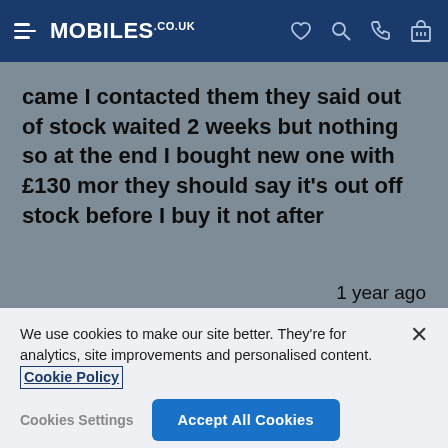MOBILES.CO.UK
came I contacted them they said out of stock waited 2 weeks but nothing so at the end I bought new one with £130 mor they should say it's out off stock before I buy it not after
1 year ago
We use cookies to make our site better. They're for analytics, site improvements and personalised content. Cookie Policy
Cookies Settings
Accept All Cookies